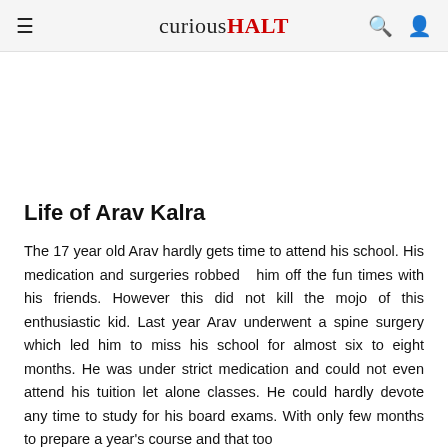curiousHALT
Life of Arav Kalra
The 17 year old Arav hardly gets time to attend his school. His medication and surgeries robbed  him off the fun times with his friends. However this did not kill the mojo of this enthusiastic kid. Last year Arav underwent a spine surgery which led him to miss his school for almost six to eight months. He was under strict medication and could not even attend his tuition let alone classes. He could hardly devote any time to study for his board exams. With only few months to prepare a year's course and that too